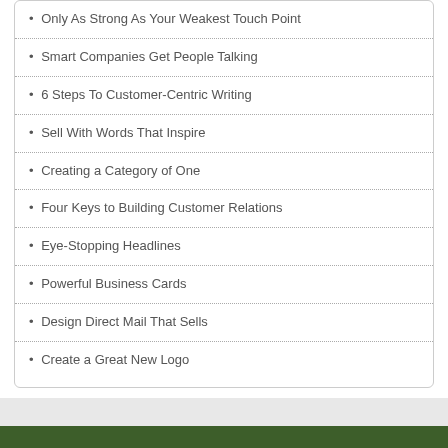Only As Strong As Your Weakest Touch Point
Smart Companies Get People Talking
6 Steps To Customer-Centric Writing
Sell With Words That Inspire
Creating a Category of One
Four Keys to Building Customer Relations
Eye-Stopping Headlines
Powerful Business Cards
Design Direct Mail That Sells
Create a Great New Logo
ABOUT US